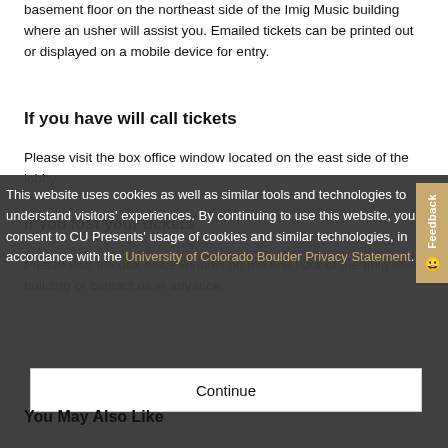basement floor on the northeast side of the Imig Music building where an usher will assist you. Emailed tickets can be printed out or displayed on a mobile device for entry.
If you have will call tickets
Please visit the box office window located on the east side of the lobby.
If you lost your tickets
Please visit the box office window on the first floor of the Imig Music building or contact us in advance.
This website uses cookies as well as similar tools and technologies to understand visitors' experiences. By continuing to use this website, you consent to CU Presents' usage of cookies and similar technologies, in accordance with the University of Colorado Boulder Privacy Statement.
Continue
You May Also Like